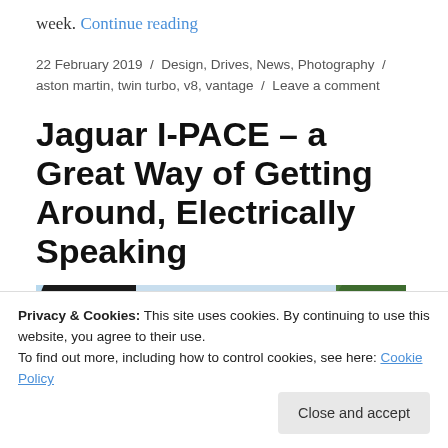week. Continue reading
22 February 2019 / Design, Drives, News, Photography / aston martin, twin turbo, v8, vantage / Leave a comment
Jaguar I-PACE – a Great Way of Getting Around, Electrically Speaking
[Figure (photo): Partial view of a car photo showing trees and blue sky]
Privacy & Cookies: This site uses cookies. By continuing to use this website, you agree to their use. To find out more, including how to control cookies, see here: Cookie Policy